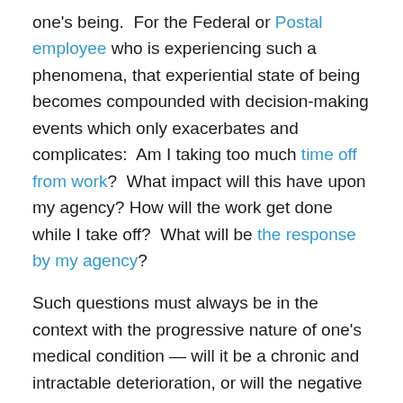one's being. For the Federal or Postal employee who is experiencing such a phenomena, that experiential state of being becomes compounded with decision-making events which only exacerbates and complicates: Am I taking too much time off from work? What impact will this have upon my agency? How will the work get done while I take off? What will be the response by my agency?
Such questions must always be in the context with the progressive nature of one's medical condition — will it be a chronic and intractable deterioration, or will the negative trend at some point be reversible?
Cessation of the trend itself might be the acceptable point of positive inclination; reversing the trend in order to become better, healthier, stronger, etc., would be the greater goal. But if the trending sees no end in sight, then